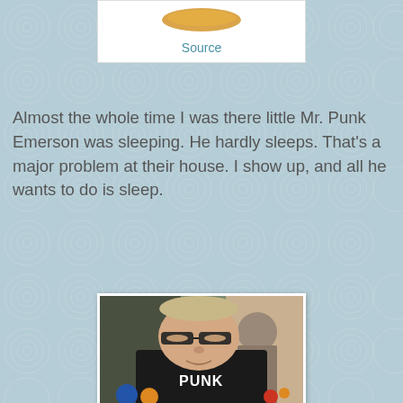[Figure (photo): Top portion of a photo showing a golden/orange circular object, partially visible, with a white background box containing the word 'Source' as a link below it]
Source
Almost the whole time I was there little Mr. Punk Emerson was sleeping. He hardly sleeps. That's a major problem at their house. I show up, and all he wants to do is sleep.
[Figure (photo): Photo of a young boy wearing black-rimmed glasses and a black shirt with 'PUNK' written on it in white letters, eyes partly closed, sitting in a room with stuffed animals and another person visible in the background]